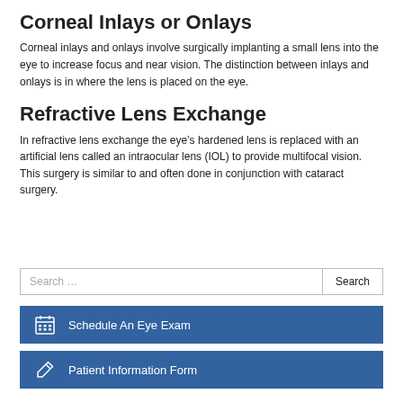Corneal Inlays or Onlays
Corneal inlays and onlays involve surgically implanting a small lens into the eye to increase focus and near vision. The distinction between inlays and onlays is in where the lens is placed on the eye.
Refractive Lens Exchange
In refractive lens exchange the eye’s hardened lens is replaced with an artificial lens called an intraocular lens (IOL) to provide multifocal vision. This surgery is similar to and often done in conjunction with cataract surgery.
Search …
Schedule An Eye Exam
Patient Information Form